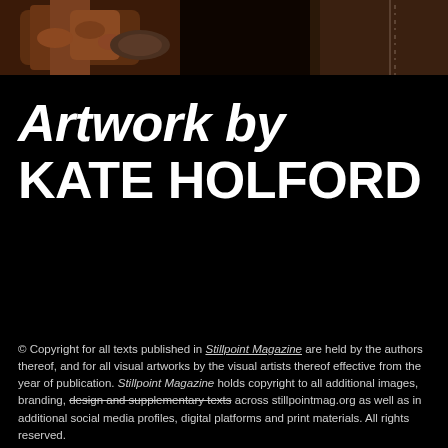[Figure (photo): Partial photo at the top of the page showing hands and what appears to be a leather or textured surface, with warm brown tones.]
Artwork by KATE HOLFORD
© Copyright for all texts published in Stillpoint Magazine are held by the authors thereof, and for all visual artworks by the visual artists thereof effective from the year of publication. Stillpoint Magazine holds copyright to all additional images, branding, design and supplementary texts across stillpointmag.org as well as in additional social media profiles, digital platforms and print materials. All rights reserved.